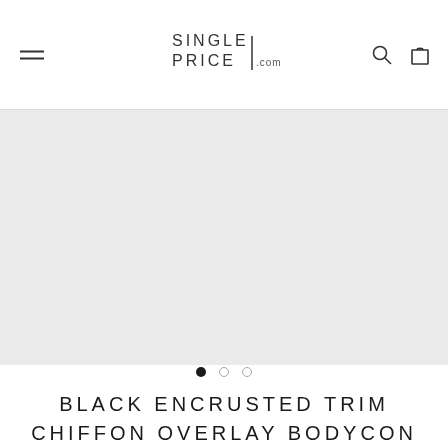SINGLE PRICE .com — navigation header with hamburger menu, logo, search and cart icons
[Figure (photo): Large light gray empty product image area (product photo placeholder)]
[Figure (other): Carousel dot indicators: three dots, first one filled/active (black), second and third empty (gray outline)]
BLACK ENCRUSTED TRIM CHIFFON OVERLAY BODYCON DRESS